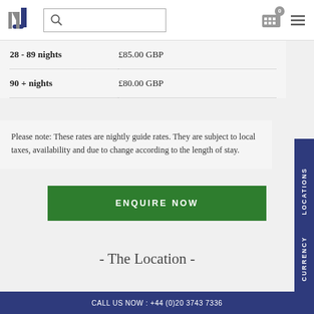JN logo, search bar, icons
| 28 - 89 nights | £85.00 GBP |
| 90 + nights | £80.00 GBP |
Please note: These rates are nightly guide rates. They are subject to local taxes, availability and due to change according to the length of stay.
ENQUIRE NOW
- The Location -
CALL US NOW : +44 (0)20 3743 7336